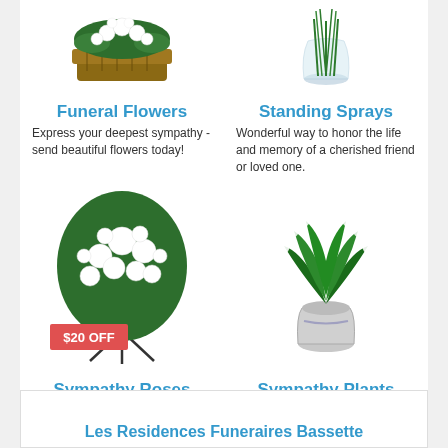[Figure (photo): White funeral flower arrangement in a basket, top left]
[Figure (photo): Glass vase with green stems/plants, top right]
Funeral Flowers
Express your deepest sympathy - send beautiful flowers today!
Standing Sprays
Wonderful way to honor the life and memory of a cherished friend or loved one.
[Figure (photo): White sympathy roses standing spray arrangement with $20 OFF badge]
[Figure (photo): White sympathy plant in decorative white pot]
Sympathy Roses
All white shimmering blossoms symbolize peace, love, and tranquility.
Sympathy Plants
Honor the life and memory of a beloved friend or relative with stunning assortment of vibrant green plants.
Les Residences Funeraires Bassette